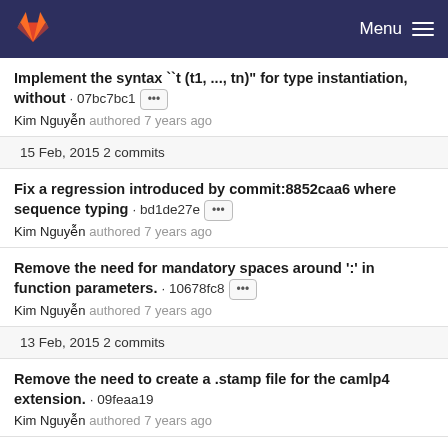GitLab — Menu
Implement the syntax ``t (t1, ..., tn)" for type instantiation, without · 07bc7bc1 [...] Kim Nguyễn authored 7 years ago
15 Feb, 2015 2 commits
Fix a regression introduced by commit:8852caa6 where sequence typing · bd1de27e [...] Kim Nguyễn authored 7 years ago
Remove the need for mandatory spaces around ':' in function parameters. · 10678fc8 [...] Kim Nguyễn authored 7 years ago
13 Feb, 2015 2 commits
Remove the need to create a .stamp file for the camlp4 extension. · 09feaa19 Kim Nguyễn authored 7 years ago